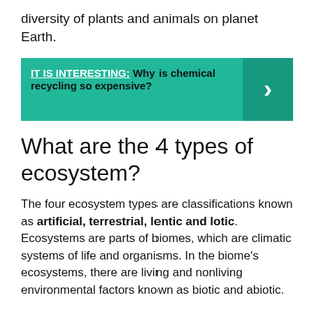diversity of plants and animals on planet Earth.
[Figure (infographic): Teal callout box with label 'IT IS INTERESTING:' and text 'Why is chemical recycling so expensive?' with a right-arrow button on the right side.]
What are the 4 types of ecosystem?
The four ecosystem types are classifications known as artificial, terrestrial, lentic and lotic. Ecosystems are parts of biomes, which are climatic systems of life and organisms. In the biome's ecosystems, there are living and nonliving environmental factors known as biotic and abiotic.